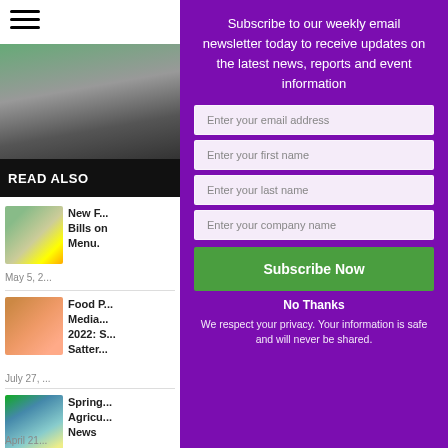[Figure (photo): Hamburger menu icon (three horizontal lines)]
[Figure (photo): Photo of a person working at a desk, viewed from above]
READ ALSO
[Figure (photo): Thumbnail image of food/produce items]
New F... Bills on Menu.
May 5, 2...
[Figure (photo): Thumbnail image of a man in orange shirt]
Food P... Media... 2022: S... Satter...
July 27, ...
[Figure (photo): Thumbnail image of a tractor in a field at sunrise]
Spring... Agricu... News
April 21...
Subscribe to our weekly email newsletter today to receive updates on the latest news, reports and event information
Enter your email address
Enter your first name
Enter your last name
Enter your company name
Subscribe Now
No Thanks
We respect your privacy. Your information is safe and will never be shared.